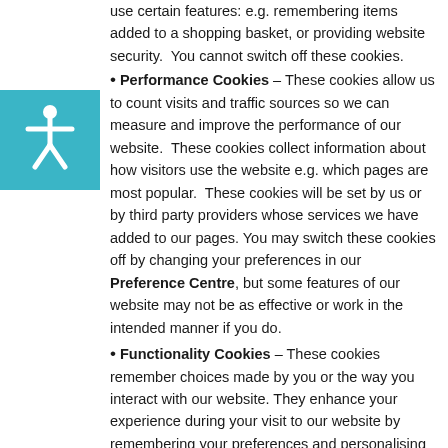use certain features: e.g. remembering items added to a shopping basket, or providing website security.  You cannot switch off these cookies.
Performance Cookies – These cookies allow us to count visits and traffic sources so we can measure and improve the performance of our website.  These cookies collect information about how visitors use the website e.g. which pages are most popular.  These cookies will be set by us or by third party providers whose services we have added to our pages. You may switch these cookies off by changing your preferences in our Preference Centre, but some features of our website may not be as effective or work in the intended manner if you do.
Functionality Cookies – These cookies remember choices made by you or the way you interact with our website. They enhance your experience during your visit to our website by remembering your preferences and personalising customisable pages e.g. remembering your name or promoting regional events. These cookies will be set by us or by third party providers whose services we have added to our pages. You may switch these cookies off by changing your preferences in our Preference Centre, but if you do not allow these cookies then some or all of these services may not function properly.